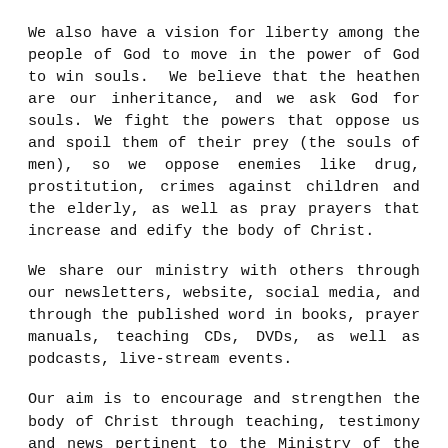We also have a vision for liberty among the people of God to move in the power of God to win souls.  We believe that the heathen are our inheritance, and we ask God for souls.  We fight the powers that oppose us and spoil them of their prey (the souls of men), so we oppose enemies like drug, prostitution, crimes against children and the elderly, as well as pray prayers that increase and edify the body of Christ.
We share our ministry with others through our newsletters, website, social media, and through the published word in books, prayer manuals, teaching CDs, DVDs, as well as podcasts, live-stream events.
Our aim is to encourage and strengthen the body of Christ through teaching, testimony and news pertinent to the Ministry of the Watchman.
We invite you to join us at our local meeting in your area, or contact us for our newsletter, prayer manuals, or for